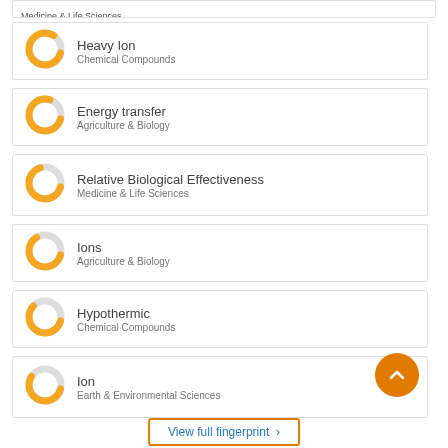Medicine & Life Sciences
Heavy Ion / Chemical Compounds
Energy transfer / Agriculture & Biology
Relative Biological Effectiveness / Medicine & Life Sciences
Ions / Agriculture & Biology
Hypothermic / Chemical Compounds
Ion / Earth & Environmental Sciences
View full fingerprint →